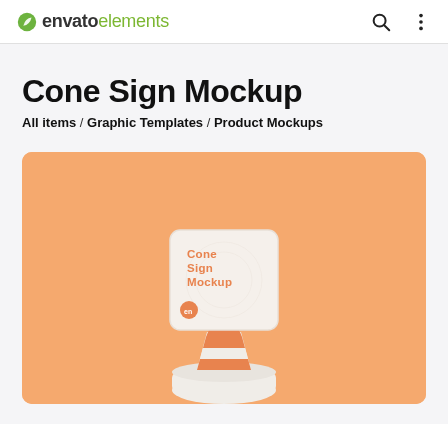envato elements
Cone Sign Mockup
All items / Graphic Templates / Product Mockups
[Figure (photo): A 3D rendered cone sign mockup on a peach/orange background. A traffic cone with orange and white stripes supports a square sign reading 'Cone Sign Mockup' with a small orange logo. The cone sits on a white cylindrical base.]